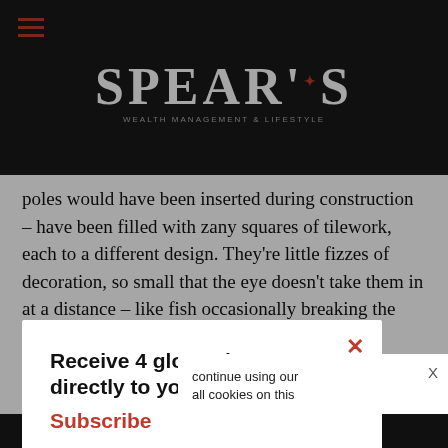SPEAR'S
poles would have been inserted during construction – have been filled with zany squares of tilework, each to a different design. They're little fizzes of decoration, so small that the eye doesn't take them in at a distance – like fish occasionally breaking the surface of a broad lake.
On one side is a catslide roof (the sort that starts at the apex and goes nearly down to the ground); on the other the fun begins. There are quirky details, such as funny ... Then, on ... rnacular ... ging and a ... continue using our ... all cookies on this
Receive 4 glossy issues directly to your doorstep Subscribe
Continue  Learn more